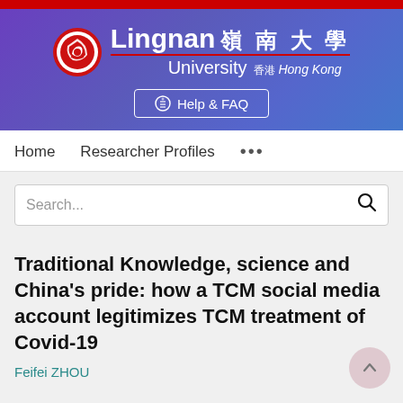[Figure (logo): Lingnan University Hong Kong logo with red circular emblem and white text on purple/blue gradient banner with Help & FAQ button]
Home   Researcher Profiles   ...
Search...
Traditional Knowledge, science and China's pride: how a TCM social media account legitimizes TCM treatment of Covid-19
Feifei ZHOU